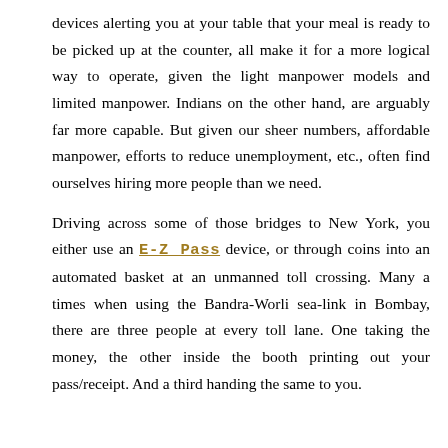devices alerting you at your table that your meal is ready to be picked up at the counter, all make it for a more logical way to operate, given the light manpower models and limited manpower. Indians on the other hand, are arguably far more capable. But given our sheer numbers, affordable manpower, efforts to reduce unemployment, etc., often find ourselves hiring more people than we need.
Driving across some of those bridges to New York, you either use an E-Z Pass device, or through coins into an automated basket at an unmanned toll crossing. Many a times when using the Bandra-Worli sea-link in Bombay, there are three people at every toll lane. One taking the money, the other inside the booth printing out your pass/receipt. And a third handing the same to you.